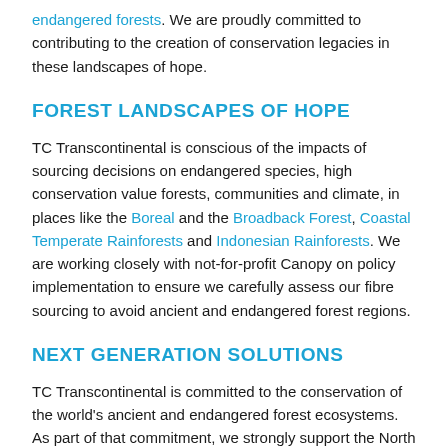endangered forests. We are proudly committed to contributing to the creation of conservation legacies in these landscapes of hope.
FOREST LANDSCAPES OF HOPE
TC Transcontinental is conscious of the impacts of sourcing decisions on endangered species, high conservation value forests, communities and climate, in places like the Boreal and the Broadback Forest, Coastal Temperate Rainforests and Indonesian Rainforests. We are working closely with not-for-profit Canopy on policy implementation to ensure we carefully assess our fibre sourcing to avoid ancient and endangered forest regions.
NEXT GENERATION SOLUTIONS
TC Transcontinental is committed to the conservation of the world's ancient and endangered forest ecosystems. As part of that commitment, we strongly support the North American commercial scale development of pulp, paper and packaging alternatives that are derived from agricultural residues like wheat straw as a way to diversity the fiber basket and meet our continued need for high quality, cost effective products.